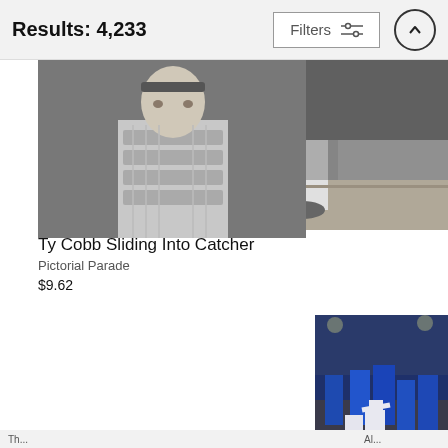Results: 4,233
Filters
[Figure (photo): Black and white photograph of Ty Cobb sliding into catcher, showing legs and baseball glove on dirt]
Ty Cobb Sliding Into Catcher
Pictorial Parade
$9.62
[Figure (photo): Black and white portrait photo of a baseball catcher wearing chest protector and headband]
[Figure (photo): Color photograph of Chicago Cubs players celebrating on baseball field at night, with crowd in background. fine art america watermark.]